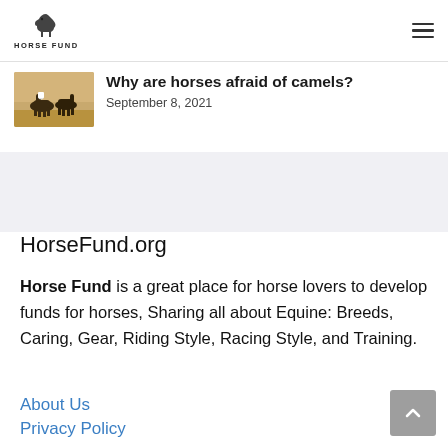Horse Fund
Why are horses afraid of camels?
September 8, 2021
HorseFund.org
Horse Fund is a great place for horse lovers to develop funds for horses, Sharing all about Equine: Breeds, Caring, Gear, Riding Style, Racing Style, and Training.
About Us
Privacy Policy